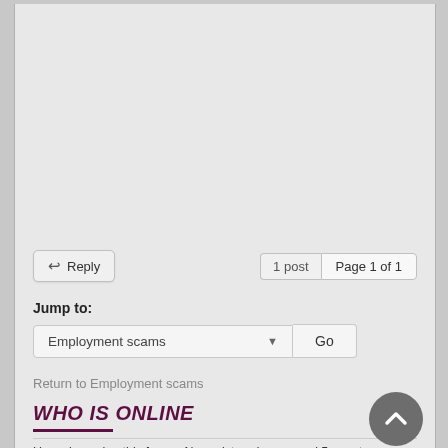↩ Reply   |   1 post   Page 1 of 1
Jump to:
Employment scams   Go
Return to Employment scams
WHO IS ONLINE
Users browsing this forum: No registered users and 5 guests